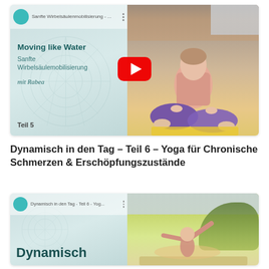[Figure (screenshot): YouTube video thumbnail for 'Sanfte Wirbelsäulenmobilisierung' – Moving like Water, Teil 5, mit Rabea. Left half shows text on teal background with mandala, right half shows a woman doing yoga in cross-legged pose outdoors. Red YouTube play button overlay in center.]
Dynamisch in den Tag – Teil 6 – Yoga für Chronische Schmerzen & Erschöpfungszustände
[Figure (screenshot): YouTube video thumbnail for 'Dynamisch in den Tag - Teil 6 - Yoga...' Left half shows 'Dynamisch' text on teal background with mandala, right half shows a person doing yoga outdoors in nature.]